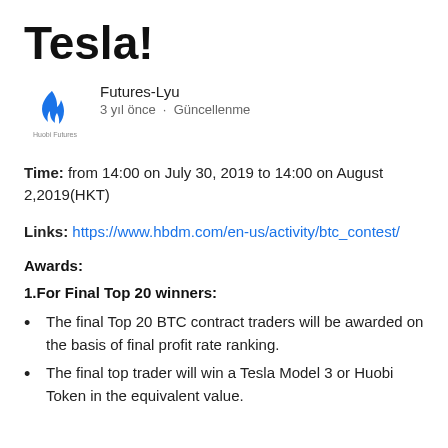Tesla!
[Figure (logo): Huobi Futures logo — blue flame icon with 'Huobi Futures' text below]
Futures-Lyu
3 yıl önce · Güncellenme
Time: from 14:00 on July 30, 2019 to 14:00 on August 2,2019(HKT)
Links: https://www.hbdm.com/en-us/activity/btc_contest/
Awards:
1.For Final Top 20 winners:
The final Top 20 BTC contract traders will be awarded on the basis of final profit rate ranking.
The final top trader will win a Tesla Model 3 or Huobi Token in the equivalent value.